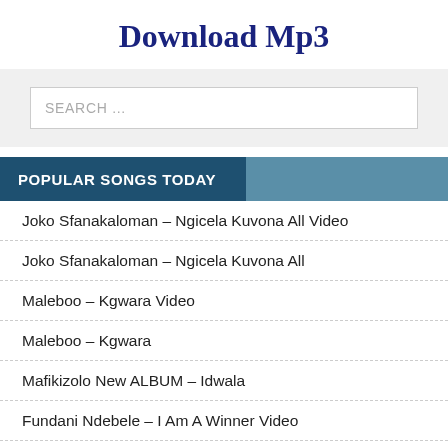Download Mp3
[Figure (screenshot): Search input box with placeholder text SEARCH ...]
POPULAR SONGS TODAY
Joko Sfanakaloman – Ngicela Kuvona All Video
Joko Sfanakaloman – Ngicela Kuvona All
Maleboo – Kgwara Video
Maleboo – Kgwara
Mafikizolo New ALBUM – Idwala
Fundani Ndebele – I Am A Winner Video
Fundani Ndebele – I Am A Winner